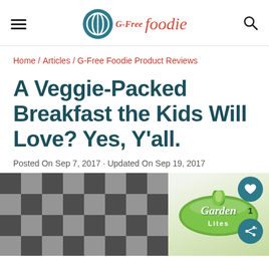G-Free Foodie
Home / Articles / G-Free Foodie Product Reviews
A Veggie-Packed Breakfast the Kids Will Love? Yes, Y'all.
Posted On Sep 7, 2017 · Updated On Sep 19, 2017
[Figure (photo): Left: black and white checkered/tiled surface photo. Right: Garden Lites product label on light green background.]